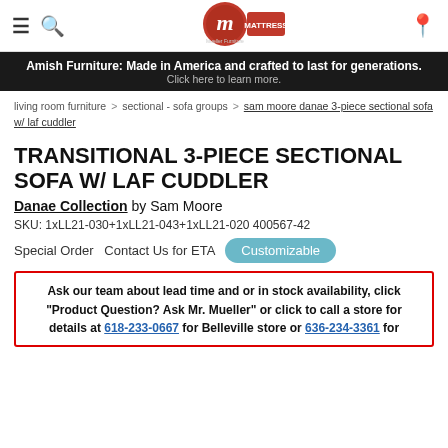Mueller Furniture and Mattress — navigation header with menu, search, logo, and location icons
[Figure (screenshot): Dark banner advertisement: 'Amish Furniture: Made in America and crafted to last for generations. Click here to learn more.']
living room furniture > sectional - sofa groups > sam moore danae 3-piece sectional sofa w/ laf cuddler
TRANSITIONAL 3-PIECE SECTIONAL SOFA W/ LAF CUDDLER
Danae Collection by Sam Moore
SKU: 1xLL21-030+1xLL21-043+1xLL21-020 400567-42
Special Order  Contact Us for ETA   Customizable
Ask our team about lead time and or in stock availability, click "Product Question? Ask Mr. Mueller" or click to call a store for details at 618-233-0667 for Belleville store or 636-234-3361 for